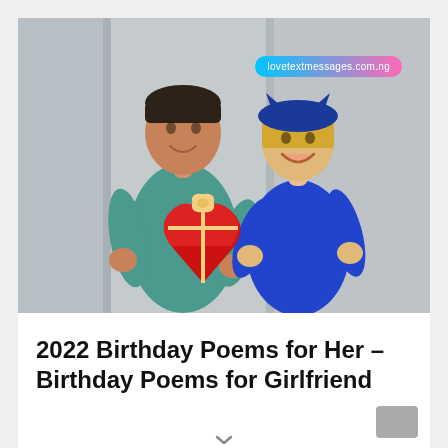[Figure (photo): A couple opening a red heart-shaped gift box together. The man wears a teal/green sweatshirt and the woman wears a blue top and blue cat-ear hat. They stand against a grey curtain background. A watermark reading 'lovetextmessages.com.ng' appears in the upper right of the photo.]
2022 Birthday Poems for Her – Birthday Poems for Girlfriend